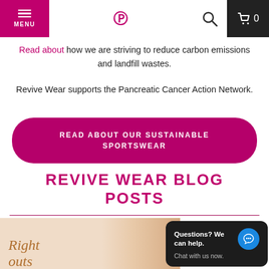MENU | [logo] | [search] | [cart 0]
Read about how we are striving to reduce carbon emissions and landfill wastes.
Revive Wear supports the Pancreatic Cancer Action Network.
READ ABOUT OUR SUSTAINABLE SPORTSWEAR
REVIVE WEAR BLOG POSTS
[Figure (photo): Partial view of a blog post thumbnail showing italic text 'Right outs' in gold/bronze color on a light beige background, with a person's arm/body partially visible on the right.]
Questions? We can help. Chat with us now.